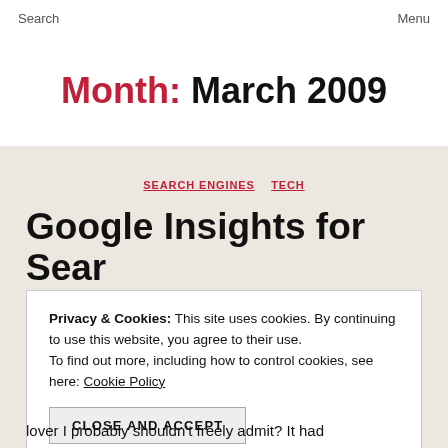Search   Menu
Month: March 2009
SEARCH ENGINES   TECH
Google Insights for Search
Privacy & Cookies: This site uses cookies. By continuing to use this website, you agree to their use. To find out more, including how to control cookies, see here: Cookie Policy
CLOSE AND ACCEPT
lover I probably shouldn't freely admit? It had